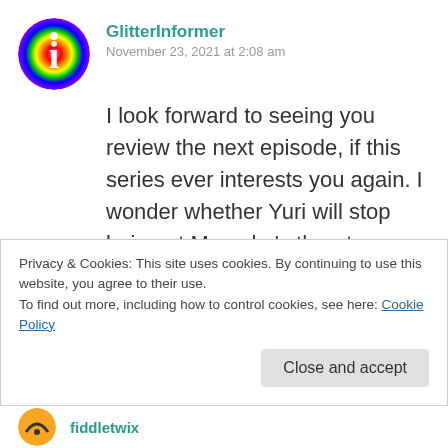[Figure (illustration): Circular avatar with rainbow glitter pattern and letter 'i' in center]
GlitterInformer
November 23, 2021 at 2:08 am
I look forward to seeing you review the next episode, if this series ever interests you again. I wonder whether Yuri will stop being at Momoko’s throat so much once she finally joins the team. I’m really hoping for some character development in this show that I’ve only ever experienced by hearing
Privacy & Cookies: This site uses cookies. By continuing to use this website, you agree to their use.
To find out more, including how to control cookies, see here: Cookie Policy
Close and accept
[Figure (illustration): Small circular avatar with orange/yellow design visible at bottom of page]
fiddletwix